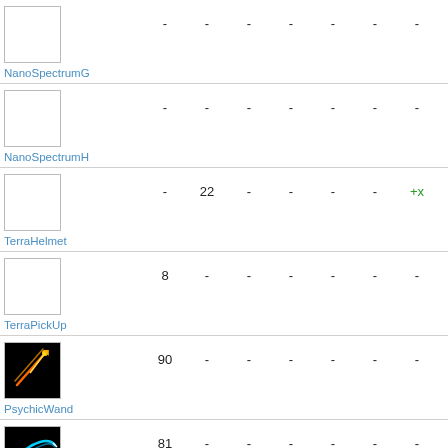| Item | Stat1 | Stat2 | Stat3 | Stat4 | Stat5 | Stat6 | Stat7 |
| --- | --- | --- | --- | --- | --- | --- | --- |
| NanoSpectrumG | - | - | - | - | - | - | - |
| NanoSpectrumH | - | - | - | - | - | - | - |
| TerraHelmet | - | 22 | - | - | - | - | +x |
| TerraPickUp | 8 | - | - | - | - | - | - |
| PsychicWand | 90 | - | - | - | - | - | - |
| SoulGun | 81 | - | - | - | - | - | - |
| (item7) | - | 85 | - | - | - | - | - |